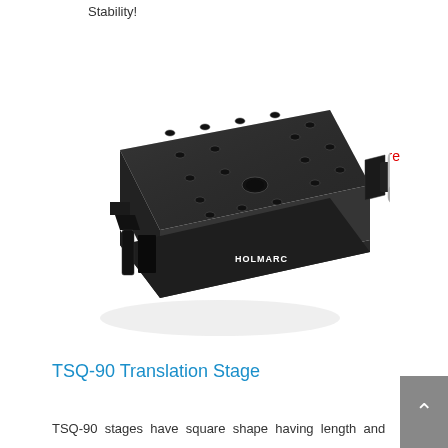Stability!
More
[Figure (photo): Photo of TSQ-90 Translation Stage, a square black anodized aluminum optical stage with mounting holes and a micrometer drive attached on the side, branded HOLMARC]
TSQ-90 Translation Stage
TSQ-90 stages have square shape having length and